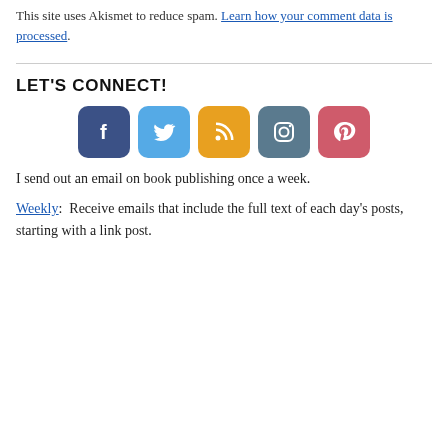This site uses Akismet to reduce spam. Learn how your comment data is processed.
LET'S CONNECT!
[Figure (illustration): Row of five social media icon buttons: Facebook (dark blue), Twitter (light blue), RSS (orange), Instagram (steel blue), Pinterest (rose/red)]
I send out an email on book publishing once a week.
Weekly:  Receive emails that include the full text of each day's posts, starting with a link post.